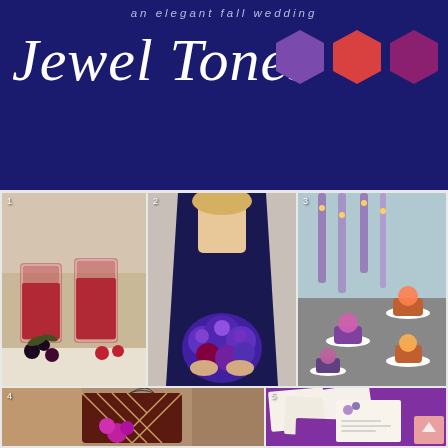an elegant fall wedding
Jewel Tones
[Figure (illustration): Three hexagonal color swatches: medium purple, coral/red, dark magenta-purple on navy background]
[Figure (photo): Photo 1: Berry cocktail drinks with blackberries and raspberries on a white table]
[Figure (photo): Photo 2: Bridesmaid in navy strapless dress holding a purple and burgundy floral bouquet]
[Figure (photo): Photo 3: Elegant dessert display with cupcakes on white plates and hanging glass cylinders]
[Figure (photo): Photo 4: Decorative wedding cake with geometric lattice pattern and bright magenta orchids]
[Figure (photo): Photo 5: Wedding stationery suite spread on a purple surface including invitation cards, RSVP, and envelope]